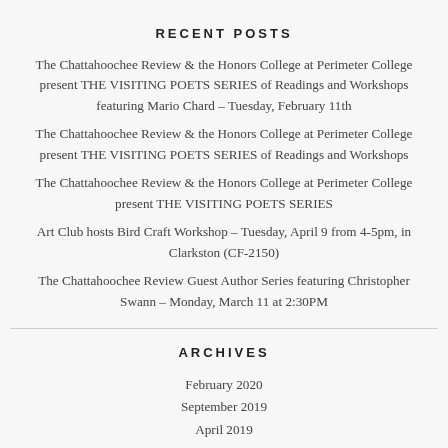RECENT POSTS
The Chattahoochee Review & the Honors College at Perimeter College present THE VISITING POETS SERIES of Readings and Workshops featuring Mario Chard – Tuesday, February 11th
The Chattahoochee Review & the Honors College at Perimeter College present THE VISITING POETS SERIES of Readings and Workshops
The Chattahoochee Review & the Honors College at Perimeter College present THE VISITING POETS SERIES
Art Club hosts Bird Craft Workshop – Tuesday, April 9 from 4-5pm, in Clarkston (CF-2150)
The Chattahoochee Review Guest Author Series featuring Christopher Swann – Monday, March 11 at 2:30PM
ARCHIVES
February 2020
September 2019
April 2019